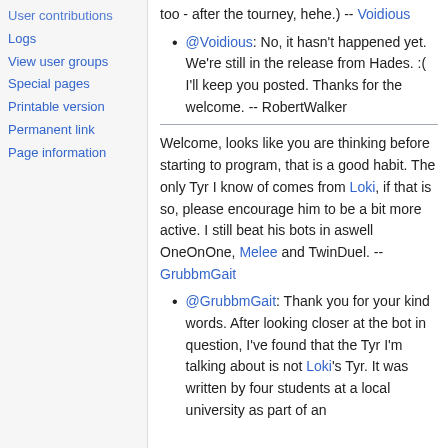User contributions
Logs
View user groups
Special pages
Printable version
Permanent link
Page information
too - after the tourney, hehe.) -- Voidious
@Voidious: No, it hasn't happened yet. We're still in the release from Hades. :( I'll keep you posted. Thanks for the welcome. -- RobertWalker
Welcome, looks like you are thinking before starting to program, that is a good habit. The only Tyr I know of comes from Loki, if that is so, please encourage him to be a bit more active. I still beat his bots in aswell OneOnOne, Melee and TwinDuel. -- GrubbmGait
@GrubbmGait: Thank you for your kind words. After looking closer at the bot in question, I've found that the Tyr I'm talking about is not Loki's Tyr. It was written by four students at a local university as part of an